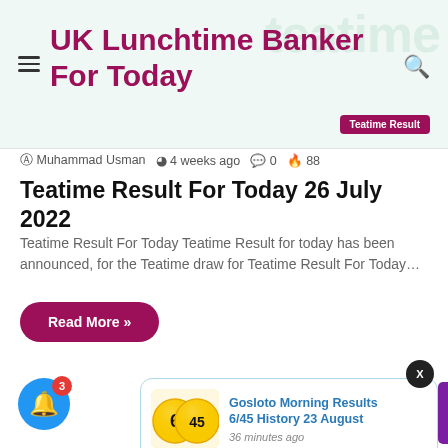UK Lunchtime Banker For Today
Muhammad Usman  4 weeks ago  0  88
Teatime Result For Today 26 July 2022
Teatime Result For Today Teatime Result for today has been announced, for the Teatime draw for Teatime Result For Today…
Read More »
[Figure (screenshot): Notification card with lottery balls image showing '6 45', linking to Gosloto Morning Results 6/45 History 23 August, posted 36 minutes ago]
Gosloto Morning Results 6/45 History 23 August
36 minutes ago